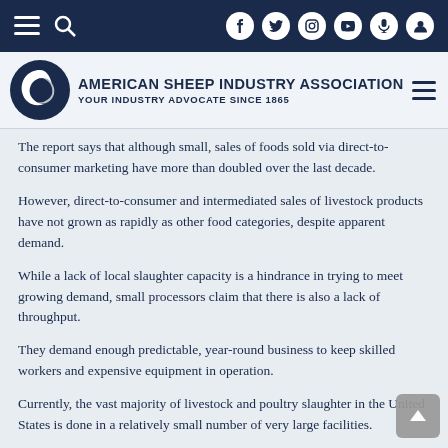American Sheep Industry Association — Your Industry Advocate Since 1865
The report says that although small, sales of foods sold via direct-to-consumer marketing have more than doubled over the last decade.
However, direct-to-consumer and intermediated sales of livestock products have not grown as rapidly as other food categories, despite apparent demand.
While a lack of local slaughter capacity is a hindrance in trying to meet growing demand, small processors claim that there is also a lack of throughput.
They demand enough predictable, year-round business to keep skilled workers and expensive equipment in operation.
Currently, the vast majority of livestock and poultry slaughter in the United States is done in a relatively small number of very large facilities.